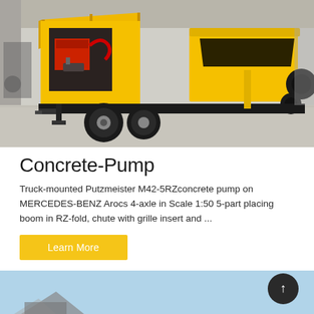[Figure (photo): Yellow trailer-mounted concrete pump (Putzmeister style) with black chassis, large rear hopper, pneumatic tires, and open engine/hydraulic compartment, parked in a covered industrial area with concrete floor.]
Concrete-Pump
Truck-mounted Putzmeister M42-5RZconcrete pump on MERCEDES-BENZ Arocs 4-axle in Scale 1:50 5-part placing boom in RZ-fold, chute with grille insert and ...
[Figure (photo): Partial view of another piece of construction equipment against a light blue sky background, visible at the very bottom of the page.]